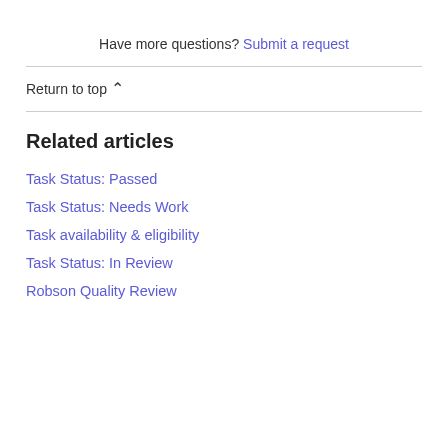Have more questions? Submit a request
Return to top
Related articles
Task Status: Passed
Task Status: Needs Work
Task availability & eligibility
Task Status: In Review
Robson Quality Review